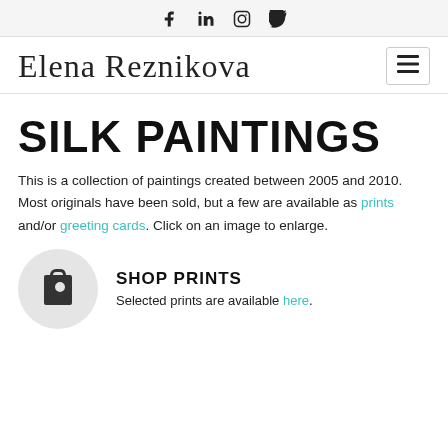f   in   (instagram)   (twitter)
Elena Reznikova
SILK PAINTINGS
This is a collection of paintings created between 2005 and 2010. Most originals have been sold, but a few are available as prints and/or greeting cards. Click on an image to enlarge.
SHOP PRINTS
Selected prints are available here.